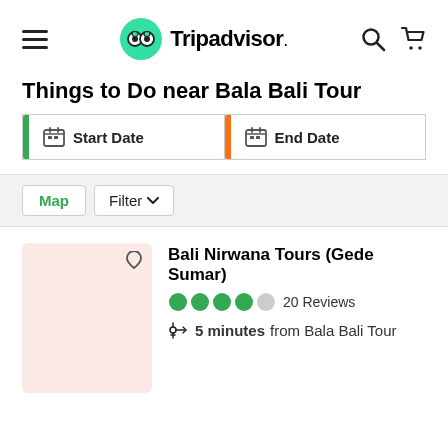[Figure (logo): Tripadvisor logo with hamburger menu, search and cart icons in navigation bar]
Things to Do near Bala Bali Tour
[Figure (screenshot): Start Date and End Date input fields with green and orange left-border accents]
[Figure (screenshot): Map and Filter buttons on grey filter bar]
Bali Nirwana Tours (Gede Sumar)
20 Reviews
5 minutes from Bala Bali Tour